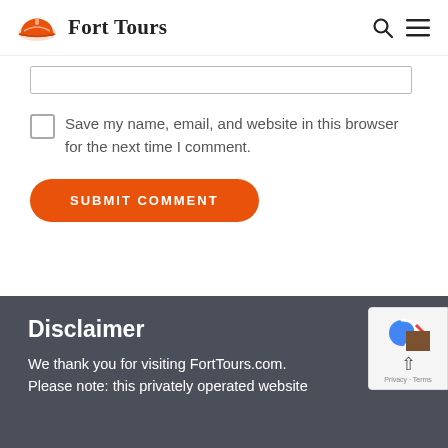Fort Tours
Save my name, email, and website in this browser for the next time I comment.
SUBMIT COMMENT
Disclaimer
We thank you for visiting FortTours.com. Please note: this privately operated website